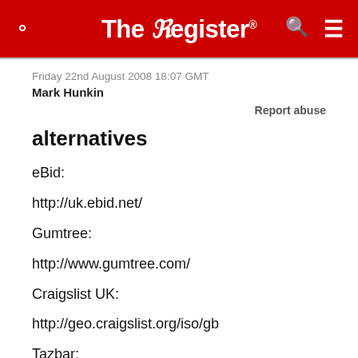The Register
Friday 22nd August 2008 18:07 GMT
Mark Hunkin
Report abuse
alternatives
eBid:

http://uk.ebid.net/

Gumtree:

http://www.gumtree.com/

Craigslist UK:

http://geo.craigslist.org/iso/gb

Tazbar: